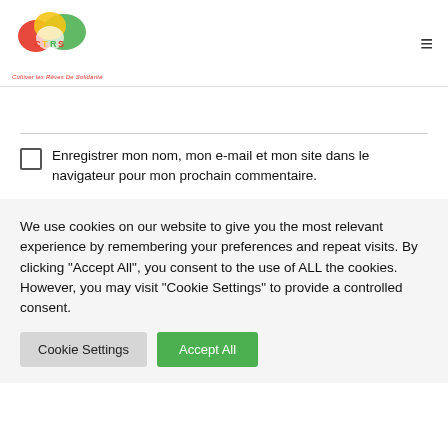[Figure (logo): CTRS logo with colorful heart/cloud shape and tagline 'Cultiver les Rêves De Solidarité']
Enregistrer mon nom, mon e-mail et mon site dans le navigateur pour mon prochain commentaire.
We use cookies on our website to give you the most relevant experience by remembering your preferences and repeat visits. By clicking "Accept All", you consent to the use of ALL the cookies. However, you may visit "Cookie Settings" to provide a controlled consent.